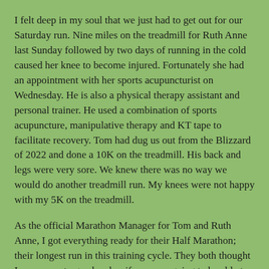I felt deep in my soul that we just had to get out for our Saturday run. Nine miles on the treadmill for Ruth Anne last Sunday followed by two days of running in the cold caused her knee to become injured. Fortunately she had an appointment with her sports acupuncturist on Wednesday. He is also a physical therapy assistant and personal trainer. He used a combination of sports acupuncture, manipulative therapy and KT tape to facilitate recovery. Tom had dug us out from the Blizzard of 2022 and done a 10K on the treadmill. His back and legs were very sore. We knew there was no way we would do another treadmill run. My knees were not happy with my 5K on the treadmill.
As the official Marathon Manager for Tom and Ruth Anne, I got everything ready for their Half Marathon; their longest run in this training cycle. They both thought I was crazy to go ahead as if we were going to be able to get out and get in a run but I know the power of intention.
We woke up to freezing temperatures but glorious sunshine streaming through our windows. It was hard to tell whether or not the streets were safe to run. We debated about whether or not we would get in our run and if the answer were yes, where we would